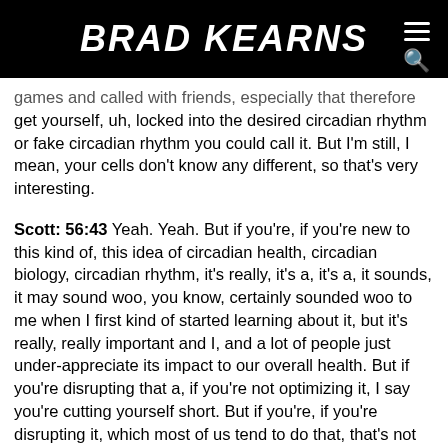BRAD KEARNS
games and called with friends, especially that therefore get yourself, uh, locked into the desired circadian rhythm or fake circadian rhythm you could call it. But I'm still, I mean, your cells don't know any different, so that's very interesting.
Scott: 56:43 Yeah. Yeah. But if you're, if you're new to this kind of, this idea of circadian health, circadian biology, circadian rhythm, it's really, it's a, it's a, it sounds, it may sound woo, you know, certainly sounded woo to me when I first kind of started learning about it, but it's really, really important and I, and a lot of people just under-appreciate its impact to our overall health. But if you're disrupting that a, if you're not optimizing it, I say you're cutting yourself short. But if you're, if you're disrupting it, which most of us tend to do that, that's not great. I mean, you could be eating an awesome diet, you can be working out consistently, but if you're just, if you're getting poor sleep because you're disrupting your circadian rhythm, like that's not like you're, you're, you're taking, you know, one step forward and two steps back.